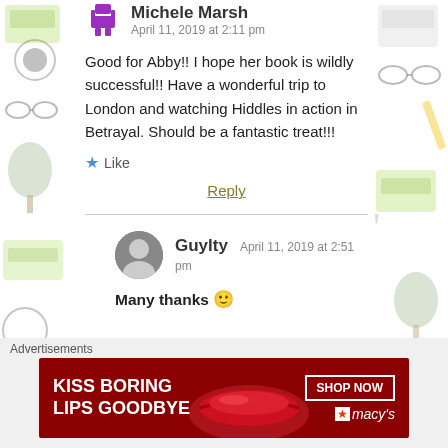Michele Marsh
April 11, 2019 at 2:11 pm
Good for Abby!! I hope her book is wildly successful!! Have a wonderful trip to London and watching Hiddles in action in Betrayal. Should be a fantastic treat!!!
Like
Reply
Guylty
April 11, 2019 at 2:51 pm
Many thanks 🙂
Advertisements
[Figure (infographic): Macy's advertisement banner: dark red background with white text 'KISS BORING LIPS GOODBYE', a SHOP NOW button outline, and Macy's star logo]